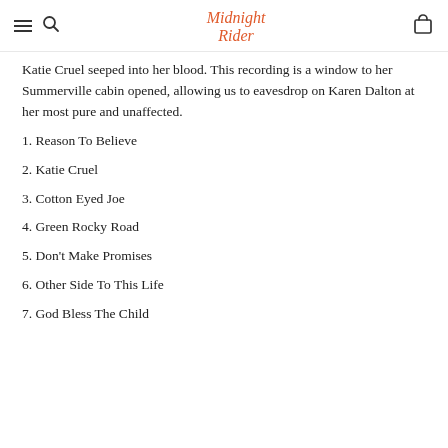Midnight Rider [logo with hamburger, search, cart icons]
Katie Cruel seeped into her blood. This recording is a window to her Summerville cabin opened, allowing us to eavesdrop on Karen Dalton at her most pure and unaffected.
1. Reason To Believe
2. Katie Cruel
3. Cotton Eyed Joe
4. Green Rocky Road
5. Don't Make Promises
6. Other Side To This Life
7. God Bless The Child